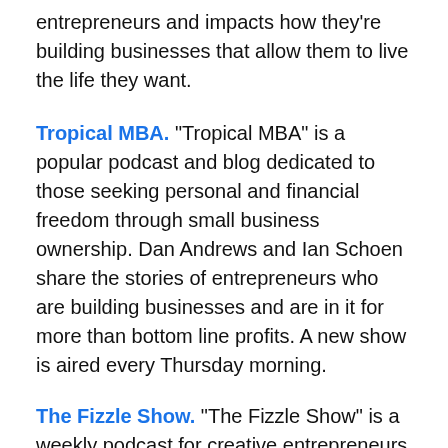entrepreneurs and impacts how they're building businesses that allow them to live the life they want.
Tropical MBA. “Tropical MBA” is a popular podcast and blog dedicated to those seeking personal and financial freedom through small business ownership. Dan Andrews and Ian Schoen share the stories of entrepreneurs who are building businesses and are in it for more than bottom line profits. A new show is aired every Thursday morning.
The Fizzle Show. “The Fizzle Show” is a weekly podcast for creative entrepreneurs and honest business builders who want to earn a living doing something they care about. Hosts Corbett Barr, Chase Reeves, and Steph Crowder focus on modern business essentials, self-employment, marketing, productivity, selling things online, motivation, audience growth, and